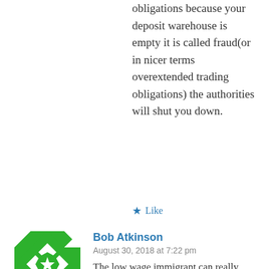obligations because your deposit warehouse is empty it is called fraud(or in nicer terms overextended trading obligations) the authorities will shut you down.
★ Like
[Figure (illustration): Green and white geometric/kaleidoscope pattern avatar for user Bob Atkinson]
Bob Atkinson
August 30, 2018 at 7:22 pm
The low wage immigrant can really suffer. See https://www.tvnz.co.nz/one-news/new-zealand/filipino-worker-came-christchurch-better-life-but-alleges-abuse-exploitation-speaks